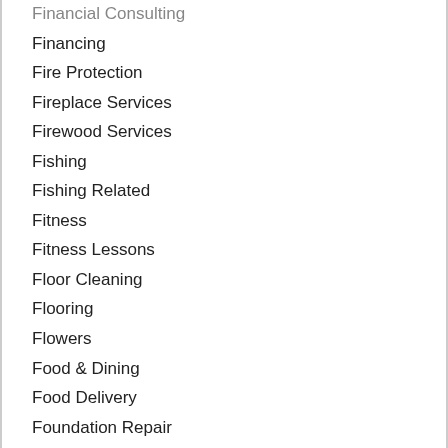Financial Consulting
Financing
Fire Protection
Fireplace Services
Firewood Services
Fishing
Fishing Related
Fitness
Fitness Lessons
Floor Cleaning
Flooring
Flowers
Food & Dining
Food Delivery
Foundation Repair
Fountains